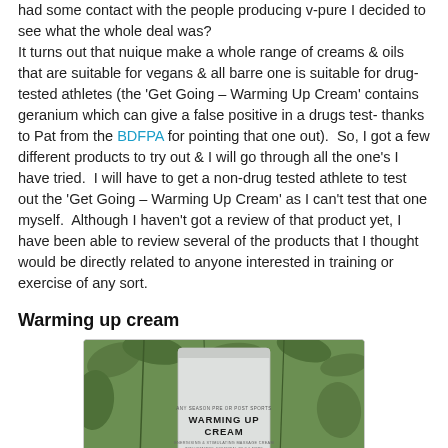had some contact with the people producing v-pure I decided to see what the whole deal was? It turns out that nuique make a whole range of creams & oils that are suitable for vegans & all barre one is suitable for drug-tested athletes (the 'Get Going – Warming Up Cream' contains geranium which can give a false positive in a drugs test- thanks to Pat from the BDFPA for pointing that one out). So, I got a few different products to try out & I will go through all the one's I have tried. I will have to get a non-drug tested athlete to test out the 'Get Going – Warming Up Cream' as I can't test that one myself. Although I haven't got a review of that product yet, I have been able to review several of the products that I thought would be directly related to anyone interested in training or exercise of any sort.
Warming up cream
[Figure (photo): A white/silver packet labeled 'WARMING UP CREAM' with smaller text above and below, placed against a green leafy background.]